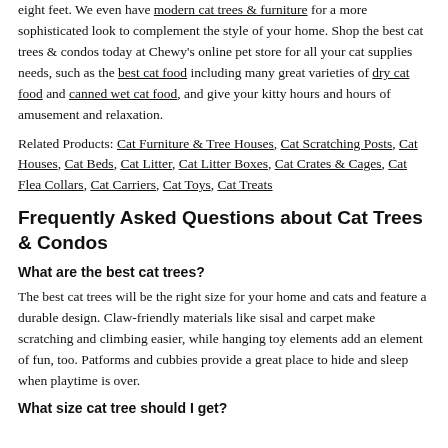eight feet. We even have modern cat trees & furniture for a more sophisticated look to complement the style of your home. Shop the best cat trees & condos today at Chewy's online pet store for all your cat supplies needs, such as the best cat food including many great varieties of dry cat food and canned wet cat food, and give your kitty hours and hours of amusement and relaxation.
Related Products: Cat Furniture & Tree Houses, Cat Scratching Posts, Cat Houses, Cat Beds, Cat Litter, Cat Litter Boxes, Cat Crates & Cages, Cat Flea Collars, Cat Carriers, Cat Toys, Cat Treats
Frequently Asked Questions about Cat Trees & Condos
What are the best cat trees?
The best cat trees will be the right size for your home and cats and feature a durable design. Claw-friendly materials like sisal and carpet make scratching and climbing easier, while hanging toy elements add an element of fun, too. Patforms and cubbies provide a great place to hide and sleep when playtime is over.
What size cat tree should I get?